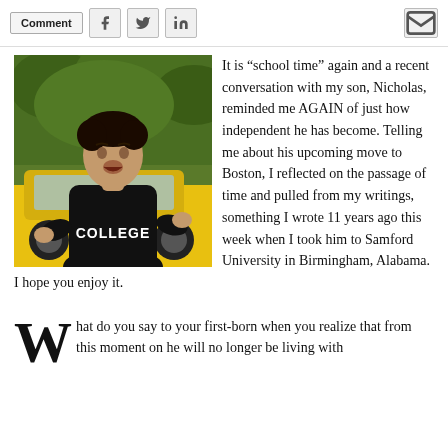Comment [social share buttons: Facebook, Twitter, LinkedIn, Email]
[Figure (photo): Man wearing a black COLLEGE sweatshirt standing in front of a yellow car with green foliage in background]
It is “school time” again and a recent conversation with my son, Nicholas, reminded me AGAIN of just how independent he has become. Telling me about his upcoming move to Boston, I reflected on the passage of time and pulled from my writings, something I wrote 11 years ago this week when I took him to Samford University in Birmingham, Alabama.  I hope you enjoy it.
What do you say to your first-born when you realize that from this moment on he will no longer be living with